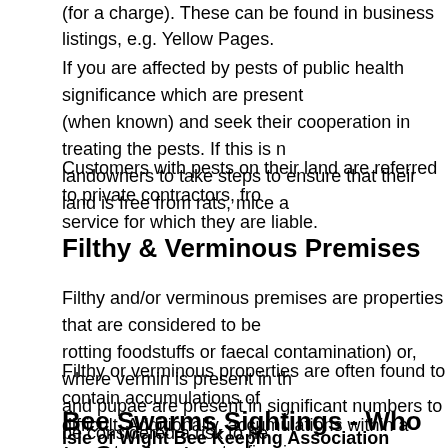(for a charge). These can be found in business listings, e.g. Yellow Pages.
If you are affected by pests of public health significance which are present on neighbouring land, you should try to identify the owner (when known) and seek their cooperation in treating the pests. If this is not successful, the Council has powers to require landowners to take steps to ensure that their land is free from rats, mice a
Customers with pests on their land are referred to private contractors, from whom they may obtain a service for which they are liable.
Filthy & Verminous Premises
Filthy and/or verminous premises are properties that are considered to be filthy (e.g. rotting foodstuffs or faecal contamination) or, where vermin is present in the form of insects and pupae are present in significant numbers to be considered a risk to he
Filthy or verminous properties are often found to contain accumulations of rubbish making access difficult. Additionally, accumulations within a property can present a fire risk. Officers can act as above.
Bee Swarms Sightings - Who to Contact
Isle of Wight Bee Keeping Association (IWBKA) Teaching Apairy at Q